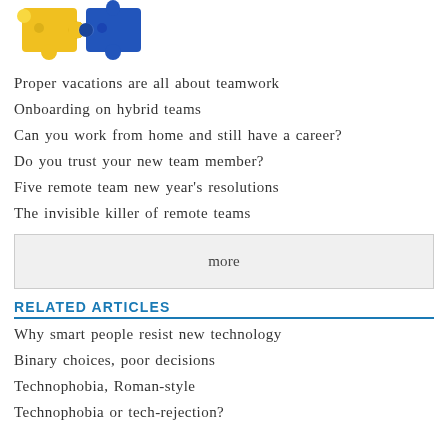[Figure (photo): Two puzzle pieces (yellow and blue) fitting together, representing teamwork]
Proper vacations are all about teamwork
Onboarding on hybrid teams
Can you work from home and still have a career?
Do you trust your new team member?
Five remote team new year's resolutions
The invisible killer of remote teams
more
RELATED ARTICLES
Why smart people resist new technology
Binary choices, poor decisions
Technophobia, Roman-style
Technophobia or tech-rejection?